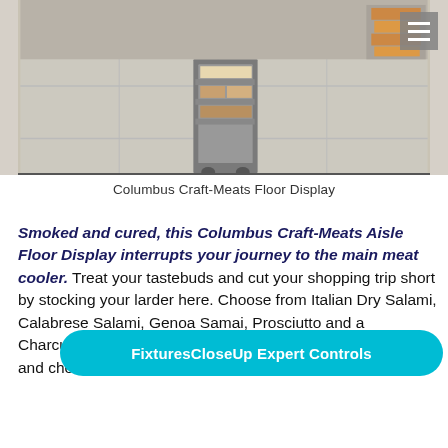[Figure (photo): Photo of a Columbus Craft-Meats floor display unit on a tiled floor, with a hamburger menu icon in the top right corner]
Columbus Craft-Meats Floor Display
Smoked and cured, this Columbus Craft-Meats Aisle Floor Display interrupts your journey to the main meat cooler. Treat your tastebuds and cut your shopping trip short by stocking your larder here. Choose from Italian Dry Salami, Calabrese Salami, Genoa Samai, Prosciutto and a Cha[rcuterie board] plus Sopressata. A Salami, Wine, Beer, and cheese pairing [guide is also here for you]